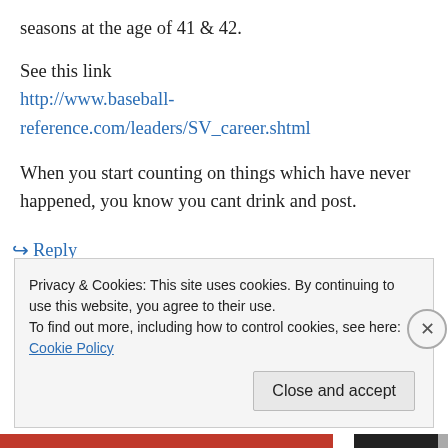seasons at the age of 41 & 42.
See this link
http://www.baseball-reference.com/leaders/SV_career.shtml
When you start counting on things which have never happened, you know you cant drink and post.
↳ Reply
Privacy & Cookies: This site uses cookies. By continuing to use this website, you agree to their use.
To find out more, including how to control cookies, see here: Cookie Policy